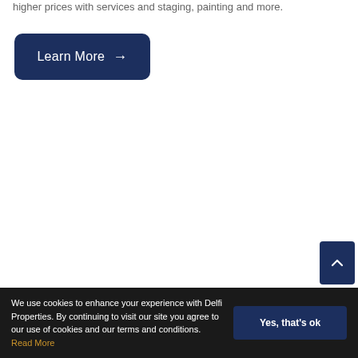higher prices with services and staging, painting and more.
[Figure (other): Learn More button with arrow, dark navy blue rounded rectangle]
[Figure (other): Scroll to top button, dark navy blue square with up caret icon]
We use cookies to enhance your experience with Delfi Properties. By continuing to visit our site you agree to our use of cookies and our terms and conditions. Read More
[Figure (other): Yes, that's ok button, dark navy blue rounded rectangle]